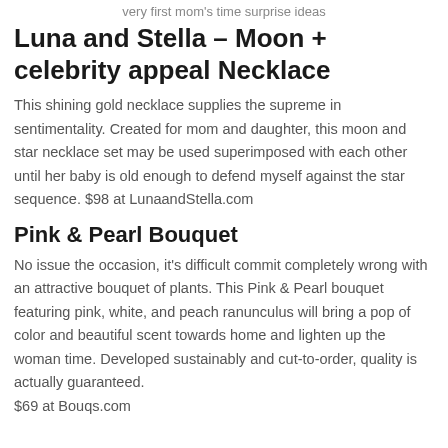very first mom's time surprise ideas
Luna and Stella – Moon + celebrity appeal Necklace
This shining gold necklace supplies the supreme in sentimentality. Created for mom and daughter, this moon and star necklace set may be used superimposed with each other until her baby is old enough to defend myself against the star sequence. $98 at LunaandStella.com
Pink & Pearl Bouquet
No issue the occasion, it's difficult commit completely wrong with an attractive bouquet of plants. This Pink & Pearl bouquet featuring pink, white, and peach ranunculus will bring a pop of color and beautiful scent towards home and lighten up the woman time. Developed sustainably and cut-to-order, quality is actually guaranteed. $69 at Bouqs.com